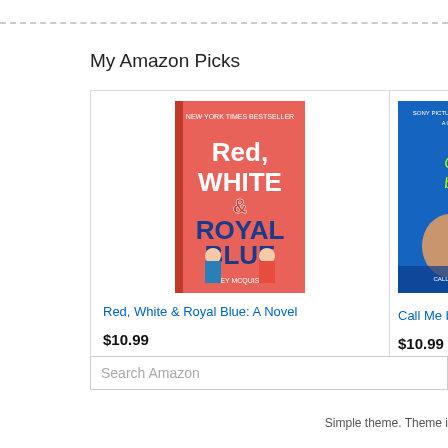My Amazon Picks
[Figure (other): Book cover: Red, White & Royal Blue: A Novel - pink/red cover with illustrated figures]
Red, White & Royal Blue: A Novel
$10.99
★★★★★ (25853)
[Figure (other): Book/movie cover: Call Me by Your Name - blue cover with two figures]
Call Me by Your Name
$10.99
★★★★★ (20267)
Search Amazon
Simple theme. Theme i